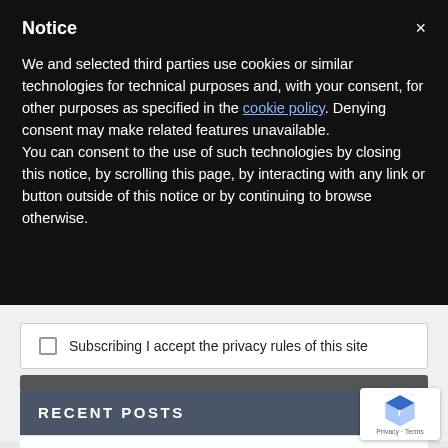Notice
We and selected third parties use cookies or similar technologies for technical purposes and, with your consent, for other purposes as specified in the cookie policy. Denying consent may make related features unavailable.
You can consent to the use of such technologies by closing this notice, by scrolling this page, by interacting with any link or button outside of this notice or by continuing to browse otherwise.
Subscribing I accept the privacy rules of this site
SUBSCRIBE
RECENT POSTS
NEW HIRING: Gotham FC adds VP of youth socce